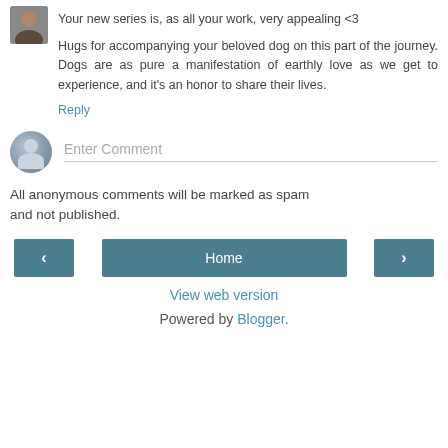Your new series is, as all your work, very appealing <3
Hugs for accompanying your beloved dog on this part of the journey. Dogs are as pure a manifestation of earthly love as we get to experience, and it's an honor to share their lives.
Reply
Enter Comment
All anonymous comments will be marked as spam and not published.
< Home > View web version Powered by Blogger.